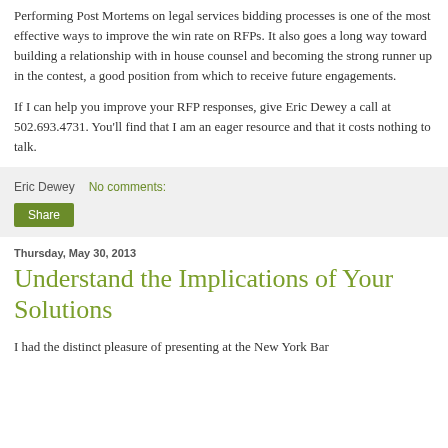Performing Post Mortems on legal services bidding processes is one of the most effective ways to improve the win rate on RFPs. It also goes a long way toward building a relationship with in house counsel and becoming the strong runner up in the contest, a good position from which to receive future engagements.
If I can help you improve your RFP responses, give Eric Dewey a call at 502.693.4731. You'll find that I am an eager resource and that it costs nothing to talk.
Eric Dewey   No comments:
Share
Thursday, May 30, 2013
Understand the Implications of Your Solutions
I had the distinct pleasure of presenting at the New York Bar